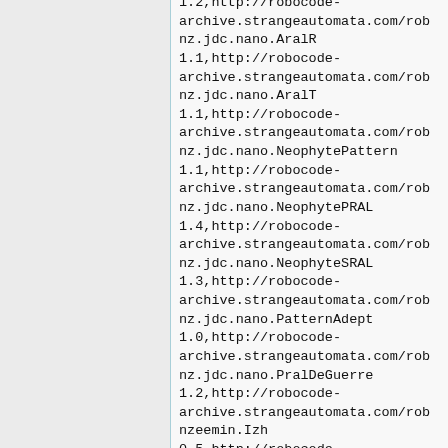1.2,http://robocode-archive.strangeautomata.com/rob
nz.jdc.nano.AralR
1.1,http://robocode-archive.strangeautomata.com/rob
nz.jdc.nano.AralT
1.1,http://robocode-archive.strangeautomata.com/rob
nz.jdc.nano.NeophytePattern
1.1,http://robocode-archive.strangeautomata.com/rob
nz.jdc.nano.NeophytePRAL
1.4,http://robocode-archive.strangeautomata.com/rob
nz.jdc.nano.NeophyteSRAL
1.3,http://robocode-archive.strangeautomata.com/rob
nz.jdc.nano.PatternAdept
1.0,http://robocode-archive.strangeautomata.com/rob
nz.jdc.nano.PralDeGuerre
1.2,http://robocode-archive.strangeautomata.com/rob
nzeemin.Izh
0.5,http://robocode-